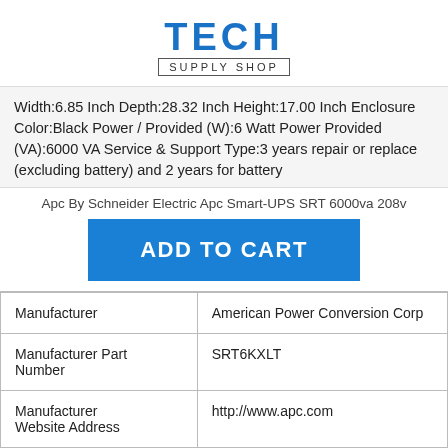[Figure (logo): Tech Supply Shop logo with bold blue TECH text and SUPPLY SHOP subtitle in a box]
Width:6.85 Inch Depth:28.32 Inch Height:17.00 Inch Enclosure Color:Black Power / Provided (W):6 Watt Power Provided (VA):6000 VA Service & Support Type:3 years repair or replace (excluding battery) and 2 years for battery
Apc By Schneider Electric Apc Smart-UPS SRT 6000va 208v
ADD TO CART
| Manufacturer | American Power Conversion Corp |
| Manufacturer Part Number | SRT6KXLT |
| Manufacturer Website Address | http://www.apc.com |